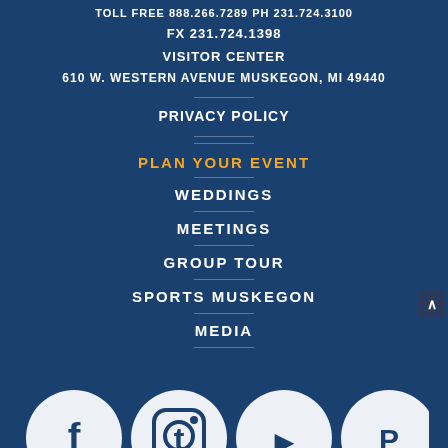TOLL FREE 888.266.7289 PH 231.724.3100
FX 231.724.1398
VISITOR CENTER
610 W. WESTERN AVENUE MUSKEGON, MI 49440
PRIVACY POLICY
PLAN YOUR EVENT
WEDDINGS
MEETINGS
GROUP TOUR
SPORTS MUSKEGON
MEDIA
[Figure (other): Social media icons row at bottom of page (partial view)]